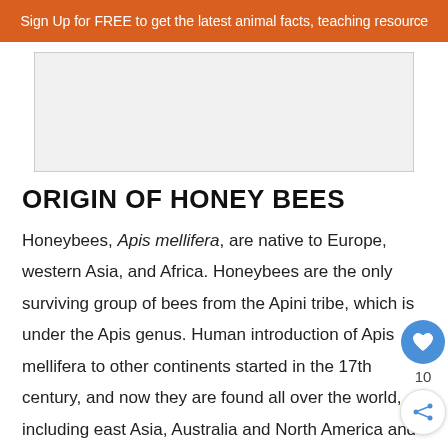Sign Up for FREE to get the latest animal facts, teaching resource
[Figure (other): Advertisement banner placeholder box]
ORIGIN OF HONEY BEES
Honeybees, Apis mellifera, are native to Europe, western Asia, and Africa. Honeybees are the only surviving group of bees from the Apini tribe, which is under the Apis genus. Human introduction of Apis mellifera to other continents started in the 17th century, and now they are found all over the world, including east Asia, Australia and North America and South America. The…